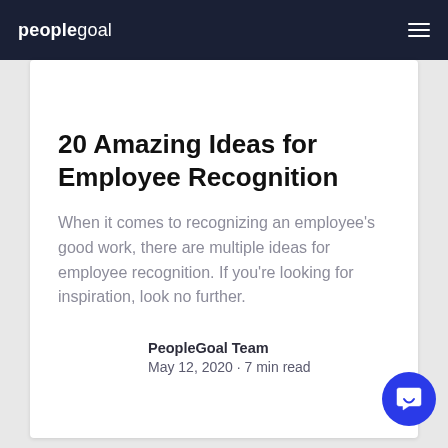peoplegoal
20 Amazing Ideas for Employee Recognition
When it comes to recognizing an employee's good work, there are multiple ideas for employee recognition. If you're looking for inspiration, look no further.
PeopleGoal Team
May 12, 2020 · 7 min read